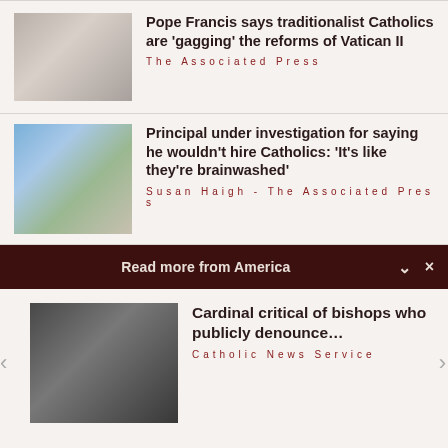[Figure (photo): Photo of Pope Francis seated, wearing white robes]
Pope Francis says traditionalist Catholics are 'gagging' the reforms of Vatican II
The Associated Press
[Figure (photo): Photo of a street scene with buildings and a lamp post]
Principal under investigation for saying he wouldn't hire Catholics: 'It's like they're brainwashed'
Susan Haigh - The Associated Press
Read more from America
[Figure (photo): Photo of several Catholic cardinals in black robes at a press conference]
Cardinal critical of bishops who publicly denounce…
Catholic News Service